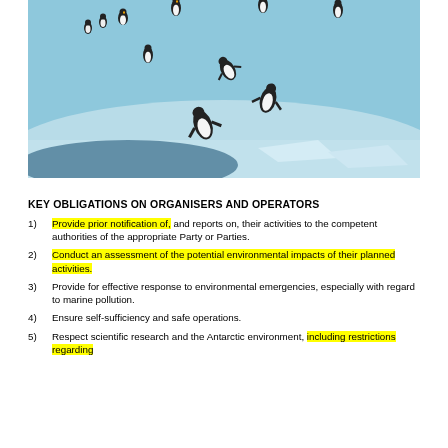[Figure (photo): Penguins on Antarctic ice and snow, some jumping into water]
KEY OBLIGATIONS ON ORGANISERS AND OPERATORS
Provide prior notification of, and reports on, their activities to the competent authorities of the appropriate Party or Parties.
Conduct an assessment of the potential environmental impacts of their planned activities.
Provide for effective response to environmental emergencies, especially with regard to marine pollution.
Ensure self-sufficiency and safe operations.
Respect scientific research and the Antarctic environment, including restrictions regarding